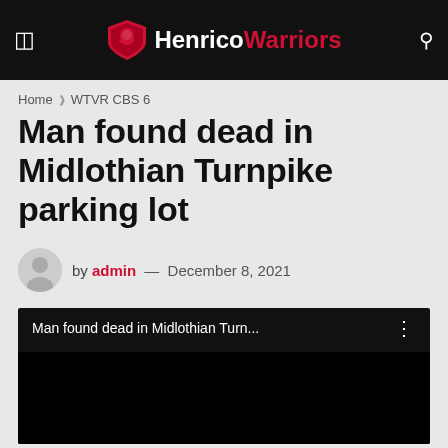Henrico Warriors
Home › WTVR CBS 6
Man found dead in Midlothian Turnpike parking lot
by admin — December 8, 2021
[Figure (screenshot): Embedded video player with title bar reading 'Man found dead in Midlothian Turn...' and three-dot menu icon, black video content area]